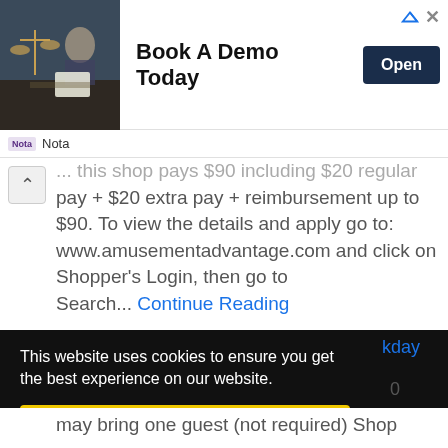[Figure (screenshot): Advertisement banner with an image of a person at a desk with scales of justice, text 'Book A Demo Today' and an 'Open' button. Small ad icons in top-right corner.]
Nota
... this shop pays $90 including $20 regular pay + $20 extra pay + reimbursement up to $90. To view the details and apply go to: www.amusementadvantage.com and click on Shopper's Login, then go to Search... Continue Reading
This website uses cookies to ensure you get the best experience on our website. Learn more
[Figure (screenshot): Yellow 'Got it!' cookie consent button]
may bring one guest (not required) Shop